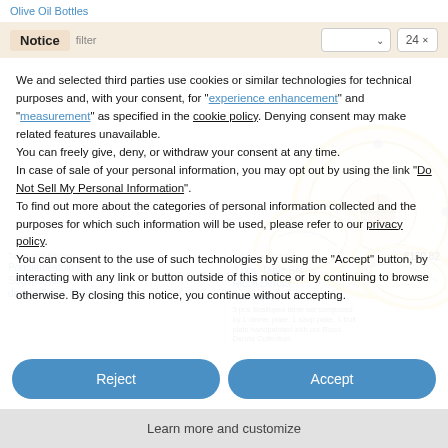Olive Oil Bottles
Notice
We and selected third parties use cookies or similar technologies for technical purposes and, with your consent, for "experience enhancement" and "measurement" as specified in the cookie policy. Denying consent may make related features unavailable.
You can freely give, deny, or withdraw your consent at any time.
In case of sale of your personal information, you may opt out by using the link "Do Not Sell My Personal Information".
To find out more about the categories of personal information collected and the purposes for which such information will be used, please refer to our privacy policy.
You can consent to the use of such technologies by using the "Accept" button, by interacting with any link or button outside of this notice or by continuing to browse otherwise. By closing this notice, you continue without accepting.
Reject
Accept
Learn more and customize